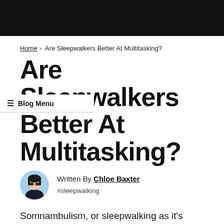Home › Are Sleepwalkers Better At Multitasking?
Are Sleepwalkers Better At Multitasking?
≡ Blog Menu
Written By Chloe Baxter
#sleepwalking
Somnambulism, or sleepwalking as it's more commonly known, is something that affects around 2-4% of the population, and while common in children, most will grow out of it by the time they hit